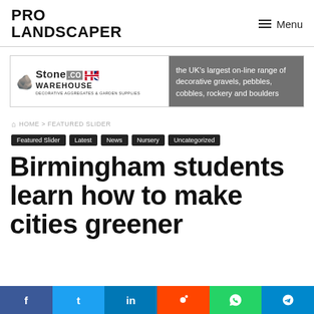PRO LANDSCAPER
[Figure (other): StoneWarehouse.co.uk advertisement banner — decorative aggregates and garden supplies, described as the UK's largest on-line range of decorative gravels, pebbles, cobbles, rockery and boulders]
HOME > FEATURED SLIDER
Featured Slider
Latest
News
Nursery
Uncategorized
Birmingham students learn how to make cities greener